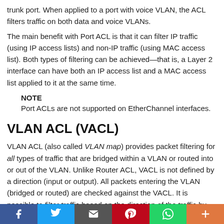trunk port. When applied to a port with voice VLAN, the ACL filters traffic on both data and voice VLANs.
The main benefit with Port ACL is that it can filter IP traffic (using IP access lists) and non-IP traffic (using MAC access list). Both types of filtering can be achieved—that is, a Layer 2 interface can have both an IP access list and a MAC access list applied to it at the same time.
NOTE
Port ACLs are not supported on EtherChannel interfaces.
VLAN ACL (VACL)
VLAN ACL (also called VLAN map) provides packet filtering for all types of traffic that are bridged within a VLAN or routed into or out of the VLAN. Unlike Router ACL, VACL is not defined by a direction (input or output). All packets entering the VLAN (bridged or routed) are checked against the VACL. It is possible to filter traffic based on the direction of the traffic by combining VACLs and Private VLAN
f  t  [email]  p  [whatsapp]  +